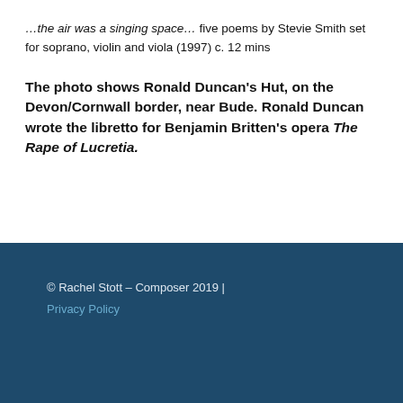…the air was a singing space… five poems by Stevie Smith set for soprano, violin and viola (1997) c. 12 mins
The photo shows Ronald Duncan's Hut, on the Devon/Cornwall border, near Bude. Ronald Duncan wrote the libretto for Benjamin Britten's opera The Rape of Lucretia.
© Rachel Stott – Composer 2019 | Privacy Policy